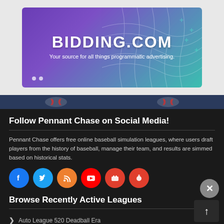[Figure (illustration): Advertisement banner for BIDDING.COM with purple-to-teal gradient background, white grid lines, plus symbols, and text 'Your source for all things programmatic advertising.']
Follow Pennant Chase on Social Media!
Pennant Chase offers free online baseball simulation leagues, where users draft players from the history of baseball, manage their team, and results are simmed based on historical stats.
[Figure (illustration): Row of social media icon circles: Facebook (blue), Twitter (blue), RSS (red-orange), YouTube (red), Discord (red-orange), Reddit (red-orange)]
Browse Recently Active Leagues
Auto League 520 Deadball Era
Auto League 1152 Favorite Teams
Auto League 1324 Favorite Teams